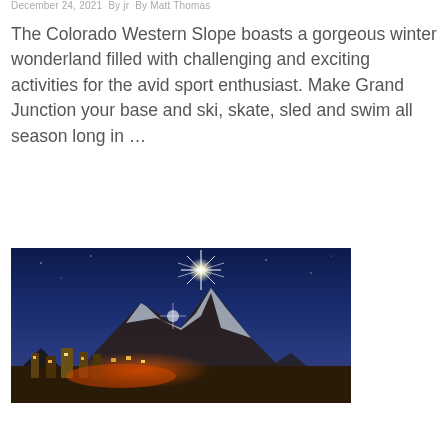December 24, 2021  By jr  By Matt Thomas
The Colorado Western Slope boasts a gorgeous winter wonderland filled with challenging and exciting activities for the avid sport enthusiast. Make Grand Junction your base and ski, skate, sled and swim all season long in …
[Figure (photo): Night photo of a snow-capped mountain with fireworks bursting above it, illuminated ski resort buildings and lodges at the base with an orange/red glow, against a deep blue twilight sky.]